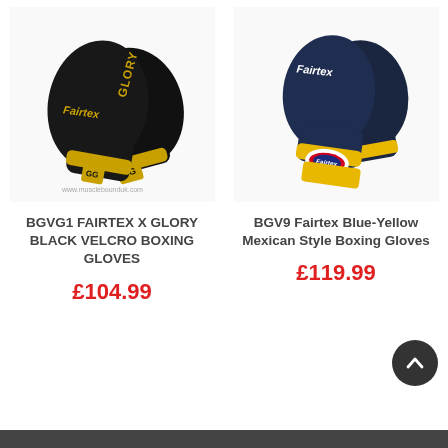[Figure (photo): Fairtex x Glory black velcro boxing gloves with gold lettering on white background, watermark www.musclebounduk.com]
[Figure (photo): Fairtex BGV9 Blue and Yellow Mexican Style Boxing Gloves on white background]
BGVG1 FAIRTEX X GLORY BLACK VELCRO BOXING GLOVES
£104.99
BGV9 Fairtex Blue-Yellow Mexican Style Boxing Gloves
£119.99